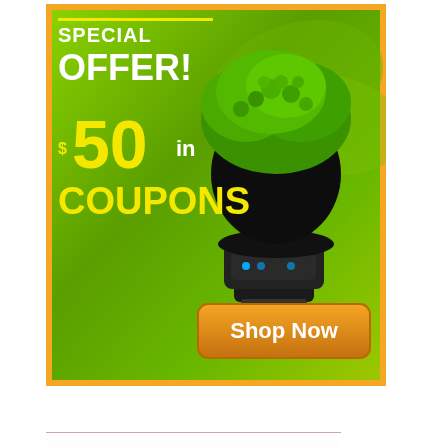[Figure (illustration): Advertisement banner with green background showing an indoor garden device with plants growing from it. Text reads 'SPECIAL OFFER! $50 in COUPONS' with a 'Shop Now' orange button.]
[Figure (illustration): Advertisement for UK's No.1 LED Lamp Supplier on a pink/white gradient background showing a GU10 LED spotlight bulb and a candle LED bulb, with a 'More Info' button.]